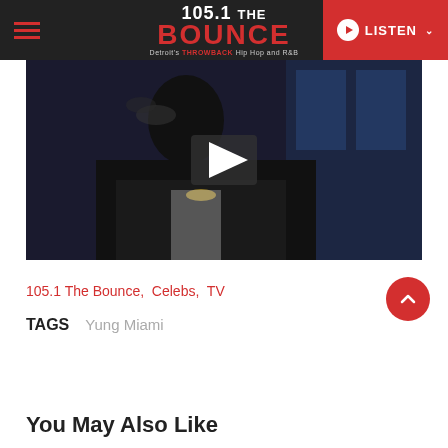105.1 THE BOUNCE — Detroit's Hip Hop and R&B — LISTEN
[Figure (screenshot): Video thumbnail showing a man in a dark jacket with a play button overlay, dark background]
105.1 The Bounce,  Celebs,  TV
TAGS   Yung Miami
You May Also Like